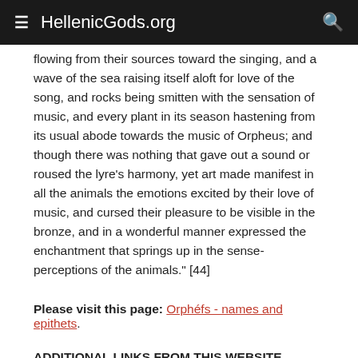≡ HellenicGods.org 🔍
flowing from their sources toward the singing, and a wave of the sea raising itself aloft for love of the song, and rocks being smitten with the sensation of music, and every plant in its season hastening from its usual abode towards the music of Orpheus; and though there was nothing that gave out a sound or roused the lyre's harmony, yet art made manifest in all the animals the emotions excited by their love of music, and cursed their pleasure to be visible in the bronze, and in a wonderful manner expressed the enchantment that springs up in the sense-perceptions of the animals." [44]
Please visit this page: Orphéfs - names and epithets.
ADDITIONAL LINKS FROM THIS WEBSITE RELATING TO ΟΡΡΥΈΣ: